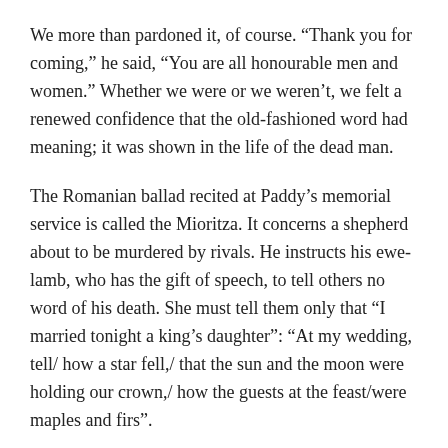We more than pardoned it, of course. “Thank you for coming,” he said, “You are all honourable men and women.” Whether we were or we weren’t, we felt a renewed confidence that the old-fashioned word had meaning; it was shown in the life of the dead man.
The Romanian ballad recited at Paddy’s memorial service is called the Mioritza. It concerns a shepherd about to be murdered by rivals. He instructs his ewe-lamb, who has the gift of speech, to tell others no word of his death. She must tell them only that “I married tonight a king’s daughter”: “At my wedding, tell/ how a star fell,/ that the sun and the moon were holding our crown,/ how the guests at the feast/were maples and firs”.
At Tony’s funeral, when John had spoken, he moved from the lectern. Just as he was about to rejoin the congregation, he stopped by his father’s coffin. “That evening,” he said, “I